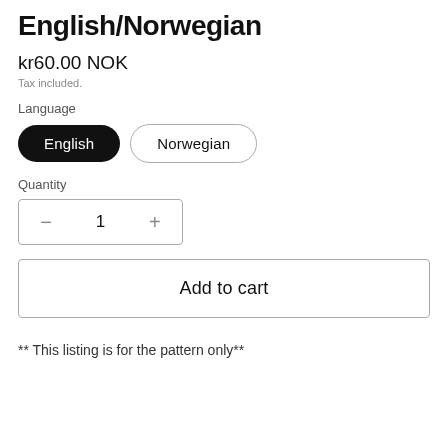English/Norwegian
kr60.00 NOK
Tax included.
Language
English   Norwegian
Quantity
− 1 +
Add to cart
** This listing is for the pattern only**